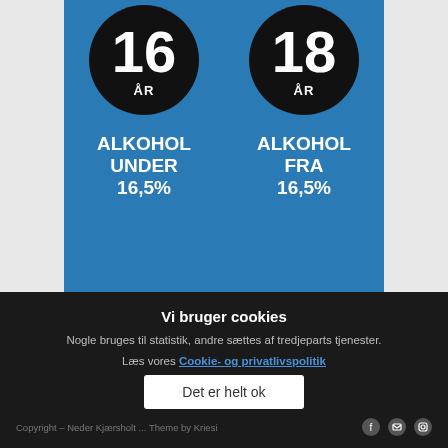[Figure (infographic): Two black circles on blue background. Left: 16 ÅR - ALKOHOL UNDER 16,5%. Right: 18 ÅR - ALKOHOL FRA 16,5%.]
FACEBOOK
Vi bruger cookies
Nogle bruges til statistik, andre sættes af tredjeparts tjenester.
Læs vores Cookie- og privatlivspolitik
Det er helt ok
Copyright - Neder Kjærsholt ... Theme by Kriesi